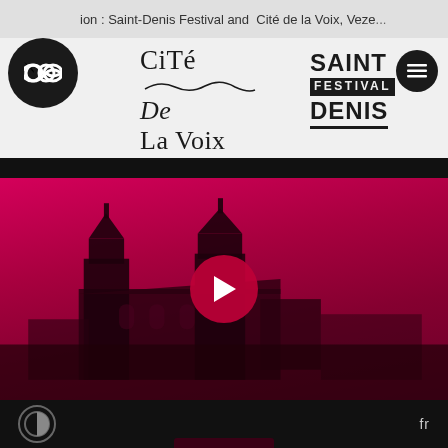ion : Saint-Denis Festival and Cité de la Voix, Veze...
[Figure (logo): Infinity loop logo in black circle]
[Figure (logo): Cité de la Voix logo with wave graphic]
[Figure (logo): Saint Festival Denis logo in bold uppercase]
[Figure (photo): Pink/magenta tinted aerial view of a church/basilica building with play button overlay, video thumbnail]
fr